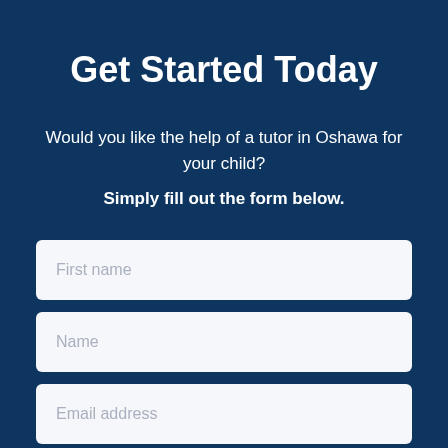Get Started Today
Would you like the help of a tutor in Oshawa for your child?
Simply fill out the form below.
First name
Name
Email address